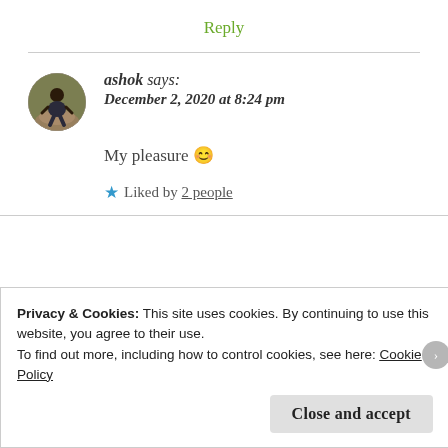Reply
[Figure (photo): Circular avatar photo of user 'ashok', showing a person sitting outdoors on rocky ground with greenery background.]
ashok says: December 2, 2020 at 8:24 pm
My pleasure 😊
★ Liked by 2 people
Privacy & Cookies: This site uses cookies. By continuing to use this website, you agree to their use.
To find out more, including how to control cookies, see here: Cookie Policy
Close and accept